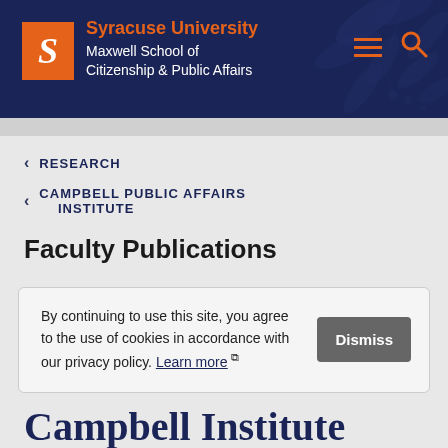[Figure (logo): Syracuse University Maxwell School of Citizenship & Public Affairs logo with orange S, decorative leaf background, hamburger menu and search icons]
Syracuse University
Maxwell School of Citizenship & Public Affairs
< RESEARCH
< CAMPBELL PUBLIC AFFAIRS INSTITUTE
Faculty Publications
By continuing to use this site, you agree to the use of cookies in accordance with our privacy policy. Learn more
Campbell Institute